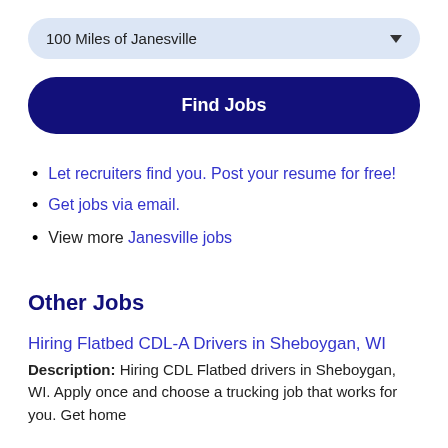100 Miles of Janesville
Find Jobs
Let recruiters find you. Post your resume for free!
Get jobs via email.
View more Janesville jobs
Other Jobs
Hiring Flatbed CDL-A Drivers in Sheboygan, WI
Description: Hiring CDL Flatbed drivers in Sheboygan, WI. Apply once and choose a trucking job that works for you. Get home